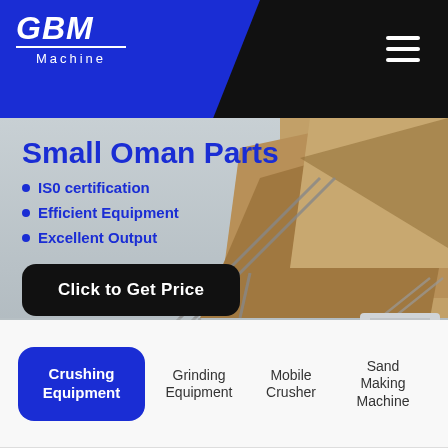[Figure (logo): GBM Machine logo in white on blue background]
[Figure (photo): Industrial mining crushing plant with conveyor belts, machinery and mountain backdrop]
Small Oman Parts
IS0 certification
Efficient Equipment
Excellent Output
Click to Get Price
Crushing Equipment | Grinding Equipment | Mobile Crusher | Sand Making Machine | Auxiliary Facilities